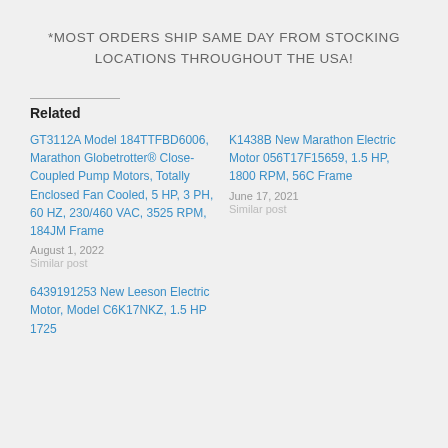*MOST ORDERS SHIP SAME DAY FROM STOCKING LOCATIONS THROUGHOUT THE USA!
Related
GT3112A Model 184TTFBD6006, Marathon Globetrotter® Close-Coupled Pump Motors, Totally Enclosed Fan Cooled, 5 HP, 3 PH, 60 HZ, 230/460 VAC, 3525 RPM, 184JM Frame
August 1, 2022
Similar post
K1438B New Marathon Electric Motor 056T17F15659, 1.5 HP, 1800 RPM, 56C Frame
June 17, 2021
Similar post
6439191253 New Leeson Electric Motor, Model C6K17NKZ, 1.5 HP 1725